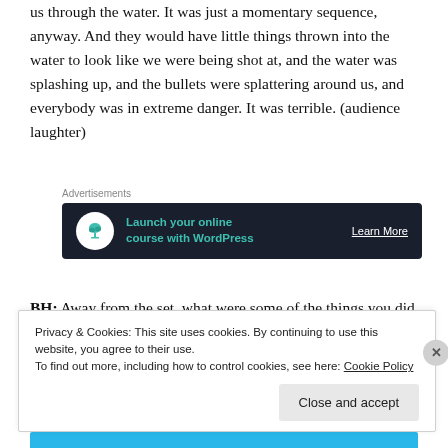us through the water. It was just a momentary sequence, anyway. And they would have little things thrown into the water to look like we were being shot at, and the water was splashing up, and the bullets were splattering around us, and everybody was in extreme danger. It was terrible. (audience laughter)
[Figure (other): Advertisement banner with dark background showing 'Launch your online course with WordPress' with a bonsai tree icon and 'Learn More' link]
BH: Away from the set, what were some of the things you did in Japan on your own time?
Privacy & Cookies: This site uses cookies. By continuing to use this website, you agree to their use.
To find out more, including how to control cookies, see here: Cookie Policy